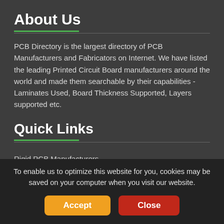About Us
PCB Directory is the largest directory of PCB Manufacturers and Fabricators on Internet. We have listed the leading Printed Circuit Board manufacturers around the world and made them searchable by their capabilities - Laminates Used, Board Thickness Supported, Layers supported etc.
Quick Links
Rigid PCB Manufacturers
Flexible PCB Manufacturers
Rigid-flex PCB Manufacturers
To enable us to optimize this website for you, cookies may be saved on your computer when you visit our website.